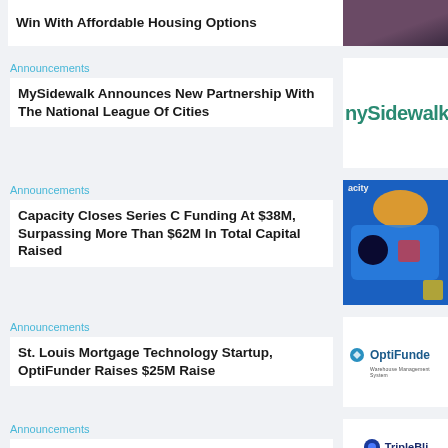Win With Affordable Housing Options
[Figure (photo): Photo of two people, cropped, purple/maroon tones]
Announcements
MySidewalk Announces New Partnership With The National League Of Cities
[Figure (logo): MySidewalk logo in teal/green text on white background]
Announcements
Capacity Closes Series C Funding At $38M, Surpassing More Than $62M In Total Capital Raised
[Figure (illustration): Colorful illustrated graphic with blue background, bull icon, tech/city theme for Capacity]
Announcements
St. Louis Mortgage Technology Startup, OptiFunder Raises $25M Raise
[Figure (logo): OptiFunder logo with teal icon and text on white background]
Announcements
TripleBlind Lands $24 Million In Series A Funding Led By Sanand Catalyst And M...